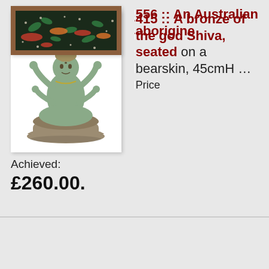[Figure (photo): Photo of a bronze statue of the god Shiva, seated on a bearskin, multi-armed, on a white background]
415 :: A bronze of the god Shiva, seated on a bearskin, 45cmH … Price
Achieved:
£260.00.
[Figure (photo): Photo of an Australian Aboriginal artwork in a wooden frame, dark background with colorful dotted and symbolic patterns in red, orange, and green]
556 :: An Australian aborigine